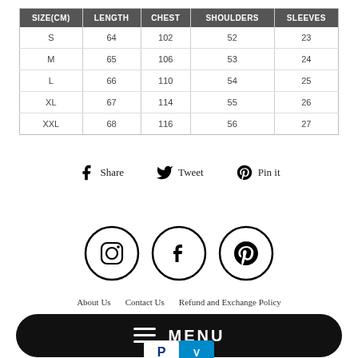| SIZE(CM) | LENGTH | CHEST | SHOULDERS | SLEEVES |
| --- | --- | --- | --- | --- |
| S | 64 | 102 | 52 | 23 |
| M | 65 | 106 | 53 | 24 |
| L | 66 | 110 | 54 | 25 |
| XL | 67 | 114 | 55 | 26 |
| XXL | 68 | 116 | 56 | 27 |
Share  Tweet  Pin it
[Figure (other): Social media icons: Instagram, Facebook, Pinterest in circles]
About Us   Contact Us   Refund and Exchange Policy
≡ MENU
[Figure (other): Payment icons: PayPal and Venmo]